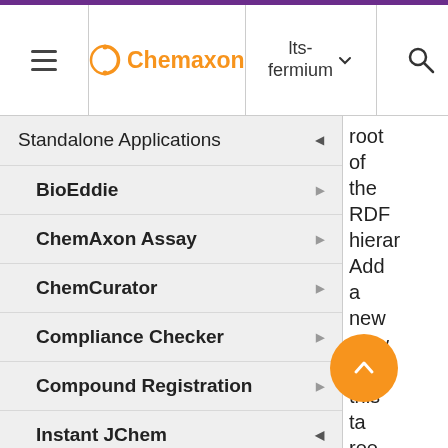Chemaxon | lts-fermium
Standalone Applications
BioEddie
ChemAxon Assay
ChemCurator
Compliance Checker
Compound Registration
Instant JChem
Instant Jchem User Guide
Getting Started
root of the RDF hierarc... Add a new view to this ta tree (s...